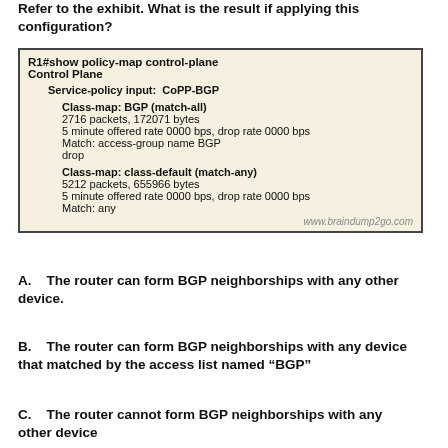Refer to the exhibit. What is the result if applying this configuration?
[Figure (screenshot): Terminal output showing R1#show policy-map control-plane. Control Plane. Service-policy input: CoPP-BGP. Class-map: BGP (match-all), 2716 packets, 172071 bytes, 5 minute offered rate 0000 bps, drop rate 0000 bps, Match: access-group name BGP, drop. Class-map: class-default (match-any), 5212 packets, 655966 bytes, 5 minute offered rate 0000 bps, drop rate 0000 bps, Match: any. Watermark: www.braindump2go.com]
A.    The router can form BGP neighborships with any other device.
B.    The router can form BGP neighborships with any device that matched by the access list named “BGP”
C.    The router cannot form BGP neighborships with any other device